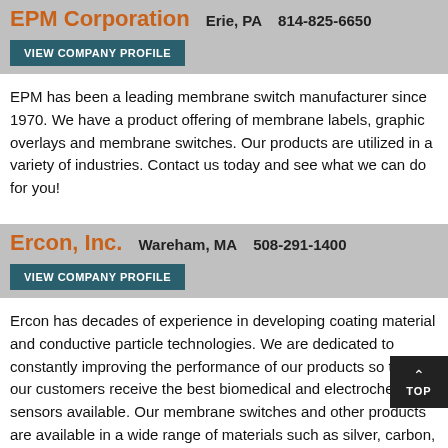EPM Corporation   Erie, PA   814-825-6650
VIEW COMPANY PROFILE
EPM has been a leading membrane switch manufacturer since 1970. We have a product offering of membrane labels, graphic overlays and membrane switches. Our products are utilized in a variety of industries. Contact us today and see what we can do for you!
Ercon, Inc.   Wareham, MA   508-291-1400
VIEW COMPANY PROFILE
Ercon has decades of experience in developing coating material and conductive particle technologies. We are dedicated to constantly improving the performance of our products so that our customers receive the best biomedical and electrochemical sensors available. Our membrane switches and other products are available in a wide range of materials such as silver, carbon, graphite, platinum and m
Fema Electronics   Dayton, NJ   800-292-3362